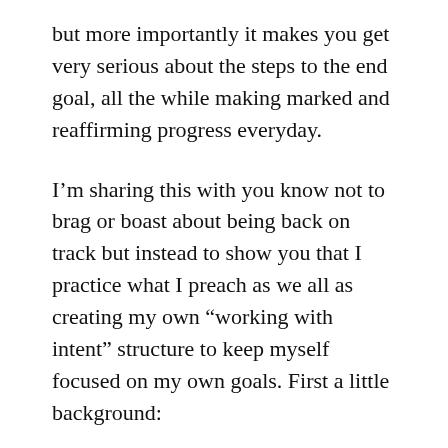but more importantly it makes you get very serious about the steps to the end goal, all the while making marked and reaffirming progress everyday.
I'm sharing this with you know not to brag or boast about being back on track but instead to show you that I practice what I preach as we all as creating my own “working with intent” structure to keep myself focused on my own goals. First a little background:
For over a decade, I was in a working environment that left me longing for a team. Wasn’t in the plans or the budget but I refused to let anything like that stop me from seeing a